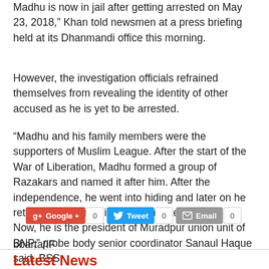Madhu is now in jail after getting arrested on May 23, 2018," Khan told newsmen at a press briefing held at its Dhanmandi office this morning.
However, the investigation officials refrained themselves from revealing the identity of other accused as he is yet to be arrested.
“Madhu and his family members were the supporters of Muslim League. After the start of the War of Liberation, Madhu formed a group of Razakars and named it after him. After the independence, he went into hiding and later on he returned his village in 1976 and later joined BNP. Now, he is the president of Muradpur union unit of BNP,” probe body senior coordinator Sanaul Haque said.-BSS
bbarta/IF
[Figure (infographic): Social sharing buttons: Google+, Tweet, Email with 0 count each]
Latest News